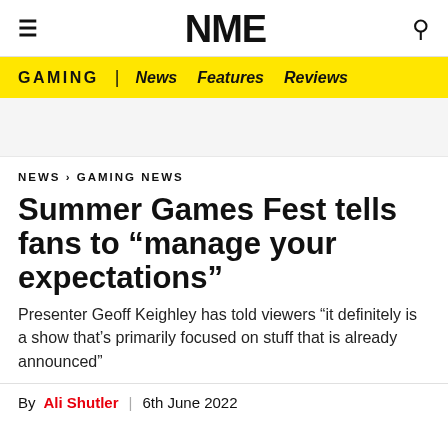NME
GAMING | News  Features  Reviews
NEWS › GAMING NEWS
Summer Games Fest tells fans to “manage your expectations”
Presenter Geoff Keighley has told viewers “it definitely is a show that’s primarily focused on stuff that is already announced”
By Ali Shutler | 6th June 2022